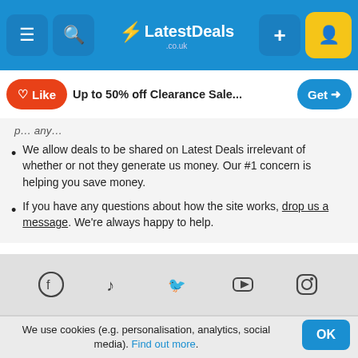LatestDeals.co.uk navigation header
Up to 50% off Clearance Sale...
We allow deals to be shared on Latest Deals irrelevant of whether or not they generate us money. Our #1 concern is helping you save money.
If you have any questions about how the site works, drop us a message. We're always happy to help.
[Figure (infographic): Social media icons: Facebook, TikTok, Twitter, YouTube, Instagram]
Copyright © 2022 Latest Deals Limited
Registered in England and Wales. Company number 10286141.
WeWork 6th Floor, International House, 1 St Katherine's Way,
We use cookies (e.g. personalisation, analytics, social media). Find out more.